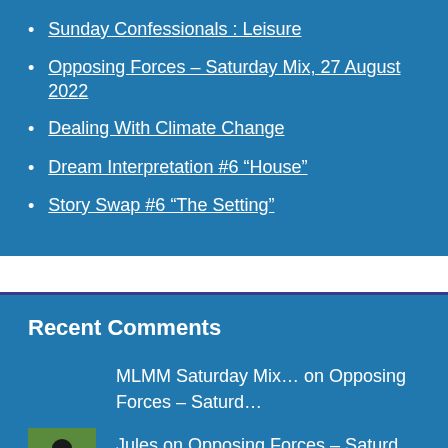Sunday Confessionals : Leisure
Opposing Forces – Saturday Mix, 27 August 2022
Dealing With Climate Change
Dream Interpretation #6 “House”
Story Swap #6 “The Setting”
Recent Comments
MLMM Saturday Mix… on Opposing Forces – Saturd…
[Figure (photo): Small thumbnail photo of a ladybug on a green leaf]
Jules on Opposing Forces – Saturd…